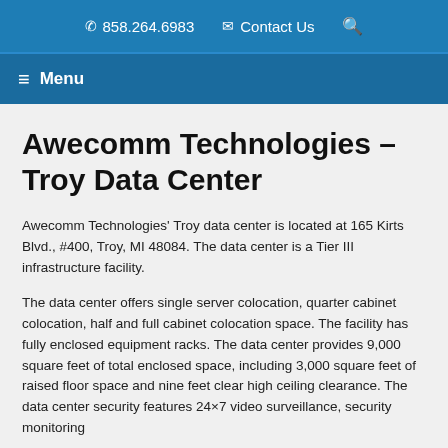☎ 858.264.6983  ✉ Contact Us  🔍
≡ Menu
Awecomm Technologies – Troy Data Center
Awecomm Technologies' Troy data center is located at 165 Kirts Blvd., #400, Troy, MI 48084. The data center is a Tier III infrastructure facility.
The data center offers single server colocation, quarter cabinet colocation, half and full cabinet colocation space. The facility has fully enclosed equipment racks. The data center provides 9,000 square feet of total enclosed space, including 3,000 square feet of raised floor space and nine feet clear high ceiling clearance. The data center security features 24×7 video surveillance, security monitoring